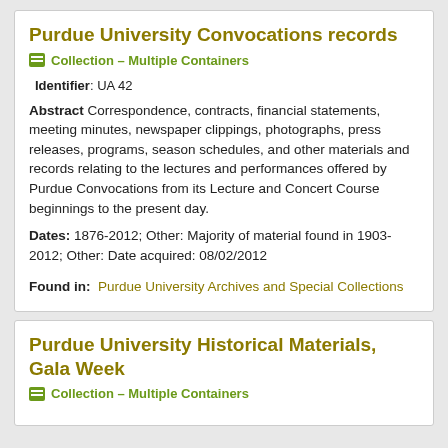Purdue University Convocations records
Collection – Multiple Containers
Identifier: UA 42
Abstract Correspondence, contracts, financial statements, meeting minutes, newspaper clippings, photographs, press releases, programs, season schedules, and other materials and records relating to the lectures and performances offered by Purdue Convocations from its Lecture and Concert Course beginnings to the present day.
Dates: 1876-2012; Other: Majority of material found in 1903-2012; Other: Date acquired: 08/02/2012
Found in: Purdue University Archives and Special Collections
Purdue University Historical Materials, Gala Week
Collection – Multiple Containers